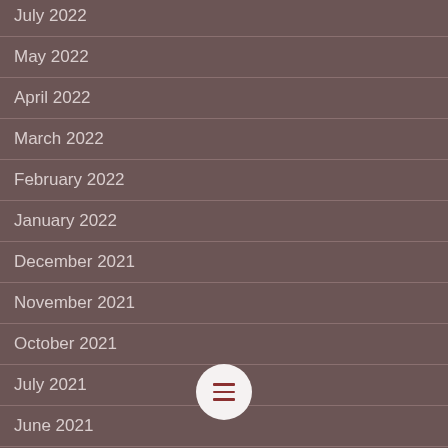July 2022
May 2022
April 2022
March 2022
February 2022
January 2022
December 2021
November 2021
October 2021
July 2021
June 2021
[Figure (illustration): Circular menu/hamburger button with white background and dark red three-line icon]